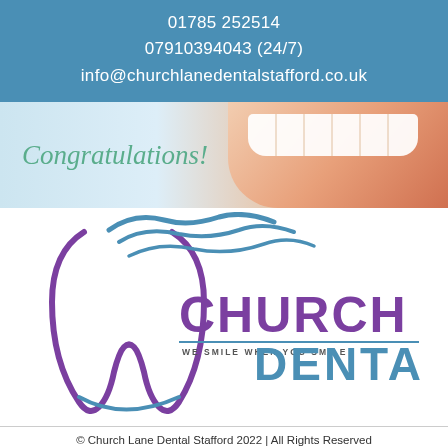01785 252514
07910394043 (24/7)
info@churchlanedentalstafford.co.uk
[Figure (photo): Congratulations banner with a close-up photo of a smiling mouth showing teeth, with the text 'Congratulations!' in italic teal font on a light blue-to-pink gradient background]
[Figure (logo): Church Lane Dental logo featuring a purple tooth outline with blue wave accents, bold purple text reading 'CHURCH LANE' and blue text 'DENTAL', with tagline 'WE SMILE WHEN YOU SMILE']
© Church Lane Dental Stafford 2022 | All Rights Reserved